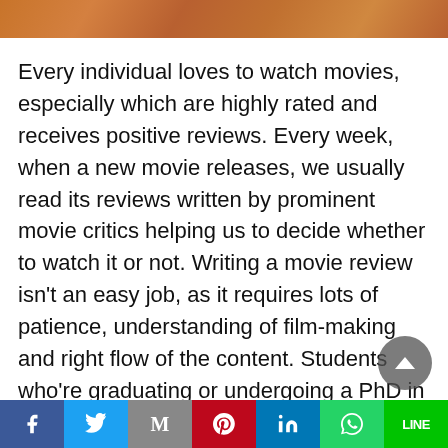[Figure (photo): Cropped photo strip at top of page showing warm brown/orange tones, likely a movie-related image]
Every individual loves to watch movies, especially which are highly rated and receives positive reviews. Every week, when a new movie releases, we usually read its reviews written by prominent movie critics helping us to decide whether to watch it or not. Writing a movie review isn’t an easy job, as it requires lots of patience, understanding of film-making and right flow of the content. Students who’re graduating or undergoing a PhD in journalism are asked to write movie reviews as a part of assignments. This is to grill them through the process and refine their thought process for
[Figure (infographic): Social media sharing bar at bottom with Facebook, Twitter, Gmail/Email, Pinterest, LinkedIn, WhatsApp, and Line buttons]